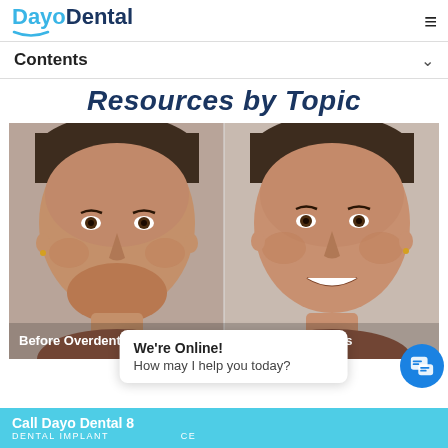DayoDental
Contents
Resources by Topic
[Figure (photo): Before and after comparison photos of a woman: on the left labeled 'Before Overdentures' showing a neutral expression without dental implants, on the right labeled 'After Overdentures' showing a smile with overdentures.]
We're Online! How may I help you today?
Call Dayo Dental 8... DENTAL IMPLANT... ...CE...